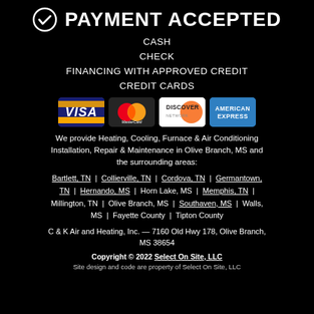PAYMENT ACCEPTED
CASH
CHECK
FINANCING WITH APPROVED CREDIT
CREDIT CARDS
[Figure (logo): Credit card logos: VISA, MasterCard, Discover Network, American Express]
We provide Heating, Cooling, Furnace & Air Conditioning Installation, Repair & Maintenance in Olive Branch, MS and the surrounding areas:
Bartlett, TN | Collierville, TN | Cordova, TN | Germantown, TN | Hernando, MS | Horn Lake, MS | Memphis, TN | Millington, TN | Olive Branch, MS | Southaven, MS | Walls, MS | Fayette County | Tipton County
C & K Air and Heating, Inc. — 7160 Old Hwy 178, Olive Branch, MS 38654
Copyright © 2022 Select On Site, LLC
Site design and code are property of Select On Site, LLC